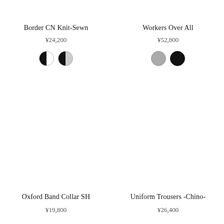Border CN Knit-Sewn
¥24,200
[Figure (illustration): Two circular color swatches: first is white with black left half, second is gray with black left half]
Workers Over All
¥52,800
[Figure (illustration): Two circular color swatches: first is solid gray, second is solid black]
Oxford Band Collar SH
¥19,800
Uniform Trousers -Chino-
¥26,400